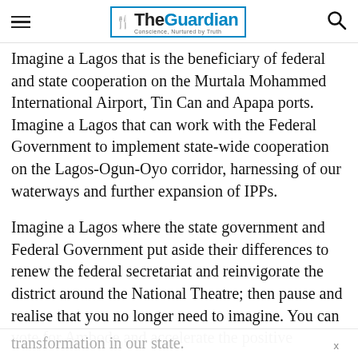The Guardian — Conscience, Nurtured by Truth
Imagine a Lagos that is the beneficiary of federal and state cooperation on the Murtala Mohammed International Airport, Tin Can and Apapa ports. Imagine a Lagos that can work with the Federal Government to implement state-wide cooperation on the Lagos-Ogun-Oyo corridor, harnessing of our waterways and further expansion of IPPs.
Imagine a Lagos where the state government and Federal Government put aside their differences to renew the federal secretariat and reinvigorate the district around the National Theatre; then pause and realise that you no longer need to imagine. You can vote for Ambode and accelerate the positive transformation in our state.